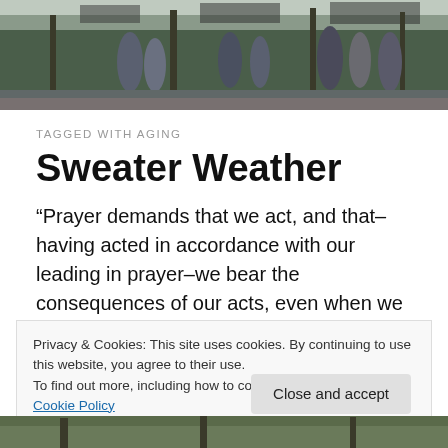[Figure (photo): Header photo showing people on a city street near storefronts, taken from behind, daytime, outdoor urban scene.]
TAGGED WITH AGING
Sweater Weather
“Prayer demands that we act, and that–having acted in accordance with our leading in prayer–we bear the consequences of our acts, even when we cannot foresee all that they are to cost.”        — Douglas V. Steere,
Privacy & Cookies: This site uses cookies. By continuing to use this website, you agree to their use.
To find out more, including how to control cookies, see here: Cookie Policy
[Figure (photo): Footer photo showing a street scene, partial view.]